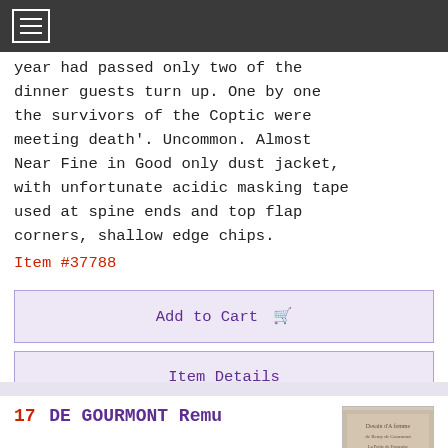Navigation header with hamburger menu
year had passed only two of the dinner guests turn up. One by one the survivors of the Coptic were meeting death'. Uncommon. Almost Near Fine in Good only dust jacket, with unfortunate acidic masking tape used at spine ends and top flap corners, shallow edge chips.
Item #37788
Add to Cart
Item Details
Ask a Question
17  DE GOURMONT Remu